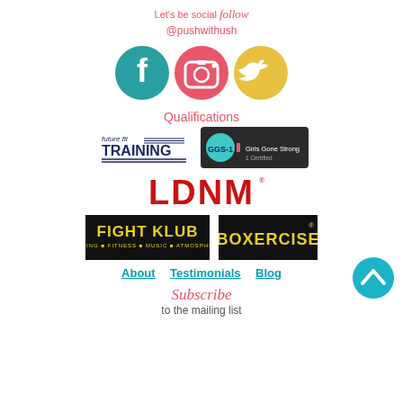Let's be social follow @pushwithush
[Figure (logo): Three social media icons: Facebook (teal circle), Instagram (pink/red circle), Twitter (yellow circle)]
Qualifications
[Figure (logo): future fit TRAINING logo and GGS-1 Girls Gone Strong 1 Certified badge]
[Figure (logo): LDNM red bold text logo with registered trademark symbol]
[Figure (logo): Fight Klub: Boxing Fitness Music Atmosphere logo (black with yellow text) and Boxercise logo (black with yellow text)]
About
Testimonials
Blog
Subscribe to the mailing list